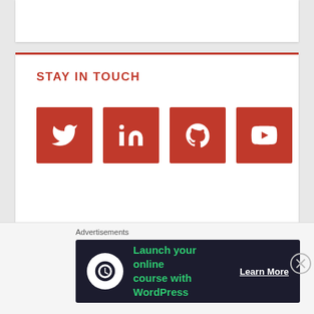STAY IN TOUCH
[Figure (infographic): Four social media icon buttons (Twitter, LinkedIn, GitHub, YouTube) as red squares with white icons]
Search ...
CATEGORIES
Advertisements
Launch your online course with WordPress  Learn More